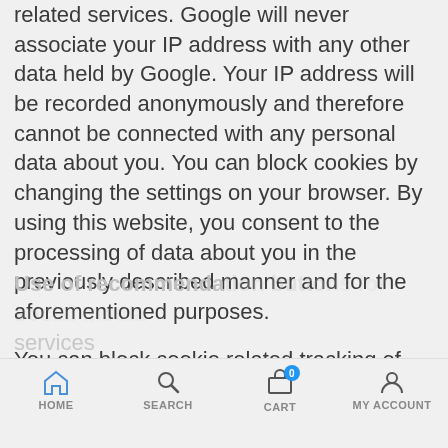related services. Google will never associate your IP address with any other data held by Google. Your IP address will be recorded anonymously and therefore cannot be connected with any personal data about you. You can block cookies by changing the settings on your browser. By using this website, you consent to the processing of data about you in the previously described manner and for the aforementioned purposes.
You can block cookie related tracking of your website usage and prevent the transmission of data to Google, if you download and install the provided Browser-Plugin from the following link: http://tools.google.com/dlpage/gaoptout?hl=en
Use of recommendation buttons for social media services
HOME SEARCH CART MY ACCOUNT